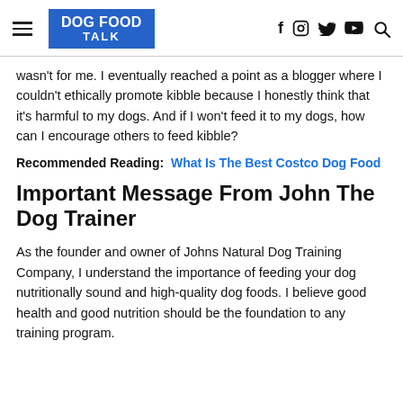DOG FOOD TALK
wasn't for me. I eventually reached a point as a blogger where I couldn't ethically promote kibble because I honestly think that it's harmful to my dogs. And if I won't feed it to my dogs, how can I encourage others to feed kibble?
Recommended Reading: What Is The Best Costco Dog Food
Important Message From John The Dog Trainer
As the founder and owner of Johns Natural Dog Training Company, I understand the importance of feeding your dog nutritionally sound and high-quality dog foods. I believe good health and good nutrition should be the foundation to any training program.